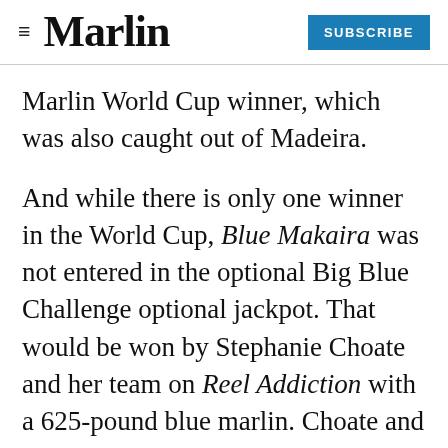Marlin | SUBSCRIBE
Marlin World Cup winner, which was also caught out of Madeira.
And while there is only one winner in the World Cup, Blue Makaira was not entered in the optional Big Blue Challenge optional jackpot. That would be won by Stephanie Choate and her team on Reel Addiction with a 625-pound blue marlin. Choate and company fished out of Bermuda with Capt. “Curly” Cragin aboard his 48-foot Billy Holton charter boat. Choate won the Blue Marlin World Cup in